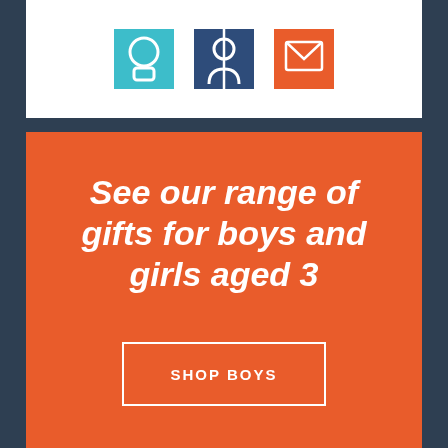[Figure (illustration): Three icon boxes in a row: teal box with a circular icon, dark navy box with a person/profile icon, and orange box with an envelope/mail icon]
See our range of gifts for boys and girls aged 3
SHOP BOYS